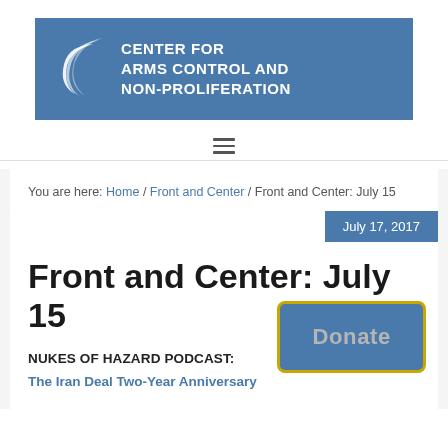[Figure (logo): Center for Arms Control and Non-Proliferation logo with blue background and white crescent/swoosh icon]
[Figure (other): Hamburger/menu icon (three horizontal lines)]
You are here: Home / Front and Center / Front and Center: July 15
July 17, 2017
Front and Center: July 15
Donate
NUKES OF HAZARD PODCAST:
The Iran Deal Two-Year Anniversary